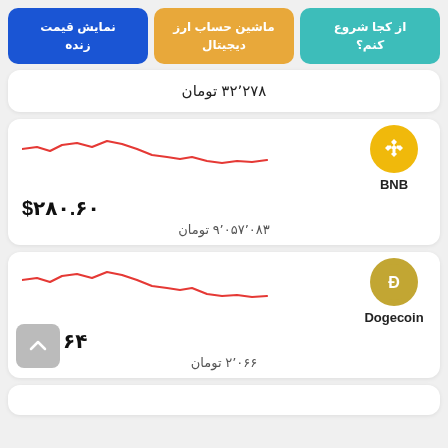[Figure (other): Three navigation buttons: blue 'نمایش قیمت زنده', orange 'ماشین حساب ارز دیجیتال', teal 'از کجا شروع کنم?']
۳۲٬۲۷۸ تومان
[Figure (line-chart): Small red line chart showing BNB price trend, slightly declining]
$۲۸۰.۶۰
۹٬۰۵۷٬۰۸۳ تومان
[Figure (line-chart): Small red line chart showing Dogecoin price trend, slightly declining]
$۰.۰۶۴
۲٬۰۶۶ تومان